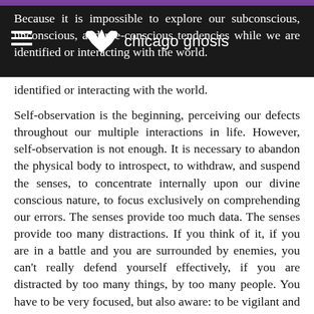chicago gnosis
Because it is impossible to explore our subconscious, unconscious, and pre-conscious tendencies while we are identified or interacting with the world.
Self-observation is the beginning, perceiving our defects throughout our multiple interactions in life. However, self-observation is not enough. It is necessary to abandon the physical body to introspect, to withdraw, and suspend the senses, to concentrate internally upon our divine conscious nature, to focus exclusively on comprehending our errors. The senses provide too much data. The senses provide too many distractions. If you think of it, if you are in a battle and you are surrounded by enemies, you can't really defend yourself effectively, if you are distracted by too many things, by too many people. You have to be very focused, but also aware: to be vigilant and perceptive, but also having the ethic and the concentration to focus on one enemy at a time as they come at you. Obviously in this